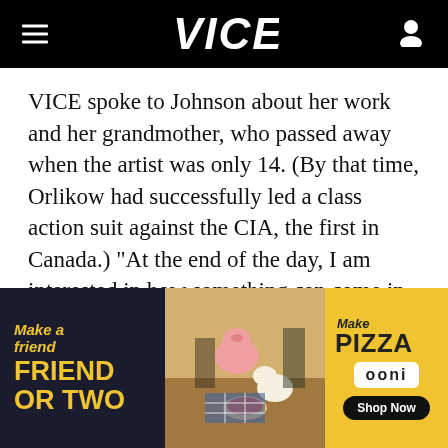VICE
VICE spoke to Johnson about her work and her grandmother, who passed away when the artist was only 14. (By that time, Orlikow had successfully led a class action suit against the CIA, the first in Canada.) "At the end of the day, I am interested in how something can come in and break a branch in the family tree, and how that trauma sorts itself out from generation to
[Figure (advertisement): Ooni pizza oven advertisement banner with text 'Make a Friend or Two' on dark left side, center photo of people and dogs at a picnic with pizza, and yellow right side with 'Make Pizza', 'ooni' logo, and 'Shop Now' button.]